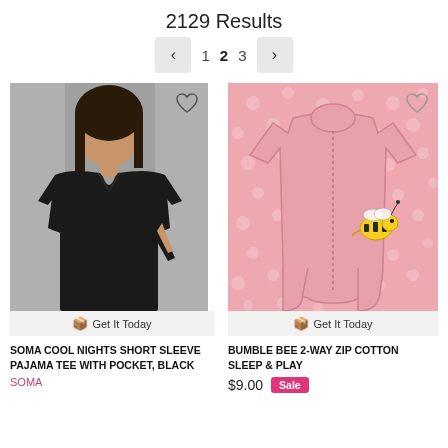2129 Results
< 1 2 3 >
[Figure (photo): Woman wearing a black short sleeve pajama tee, standing against a gray background]
Get It Today
SOMA COOL NIGHTS SHORT SLEEVE PAJAMA TEE WITH POCKET, BLACK
SOMA
[Figure (photo): Pink baby sleep and play onesie with bumble bee graphic and zip closure]
Get It Today
BUMBLE BEE 2-WAY ZIP COTTON SLEEP & PLAY
$9.00 Sale